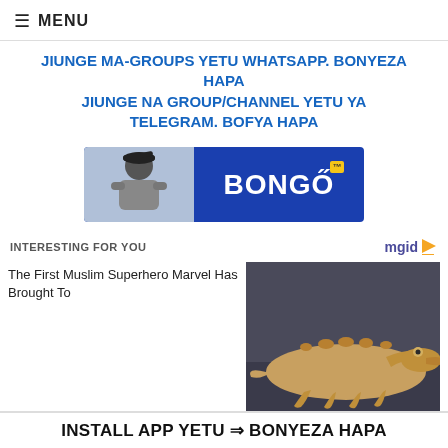≡ MENU
JIUNGE MA-GROUPS YETU WHATSAPP. BONYEZA HAPA
JIUNGE NA GROUP/CHANNEL YETU YA TELEGRAM. BOFYA HAPA
[Figure (illustration): Bongo advertisement banner with a person and Bongo logo on blue background]
INTERESTING FOR YOU
[Figure (logo): mgid logo with orange play button]
[Figure (photo): Photo of an albino crocodile on a dark floor]
The First Muslim Superhero Marvel Has Brought To
INSTALL APP YETU ⇒ BONYEZA HAPA